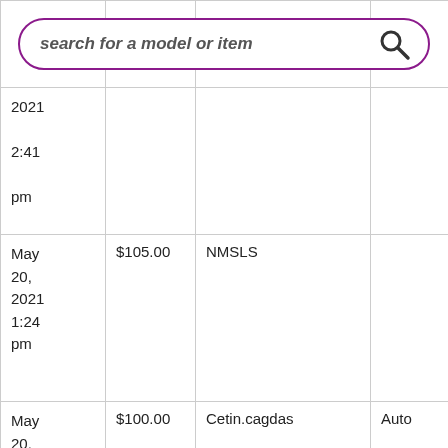[Figure (screenshot): Search bar with purple rounded border, italic bold placeholder text 'search for a model or item' and a search icon on the right]
| 2021 2:41 pm |  |  |  |
| May 20, 2021 1:24 pm | $105.00 | NMSLS |  |
| May 20, 2021 1:24 pm | $100.00 | Cetin.cagdas | Auto |